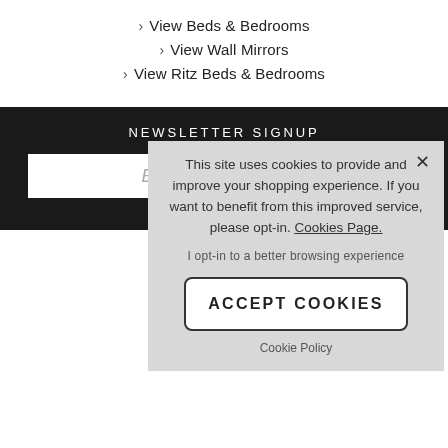View Beds & Bedrooms
View Wall Mirrors
View Ritz Beds & Bedrooms
NEWSLETTER SIGNUP
Email address
To see how w...
This site uses cookies to provide and improve your shopping experience. If you want to benefit from this improved service, please opt-in. Cookies Page.
I opt-in to a better browsing experience
ACCEPT COOKIES
Cookie Policy